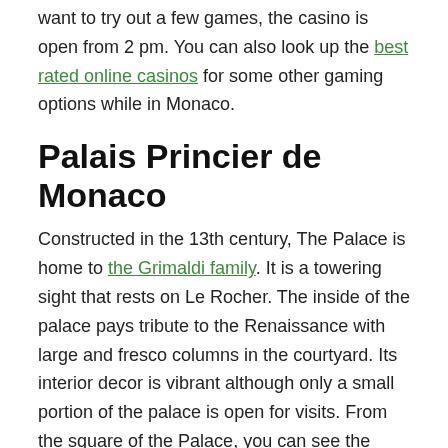want to try out a few games, the casino is open from 2 pm. You can also look up the best rated online casinos for some other gaming options while in Monaco.
Palais Princier de Monaco
Constructed in the 13th century, The Palace is home to the Grimaldi family. It is a towering sight that rests on Le Rocher. The inside of the palace pays tribute to the Renaissance with large and fresco columns in the courtyard. Its interior decor is vibrant although only a small portion of the palace is open for visits. From the square of the Palace, you can see the Cathedral and St Martin gardens. The changing of the guard, which takes place at 11.55 am at the entrance of the Palace, is a nice spectacle.
There is the Jardin Exotique, one of the many gardens